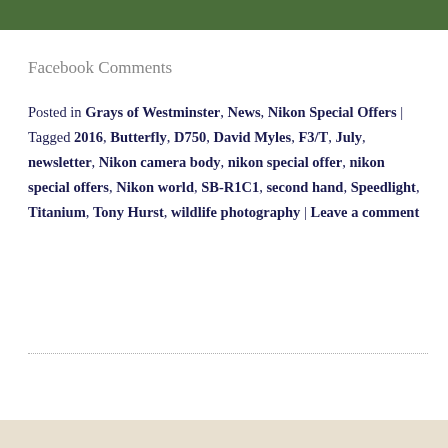[Figure (photo): Green leaf or foliage photo strip at top of page]
Facebook Comments
Posted in Grays of Westminster, News, Nikon Special Offers | Tagged 2016, Butterfly, D750, David Myles, F3/T, July, newsletter, Nikon camera body, nikon special offer, nikon special offers, Nikon world, SB-R1C1, second hand, Speedlight, Titanium, Tony Hurst, wildlife photography | Leave a comment